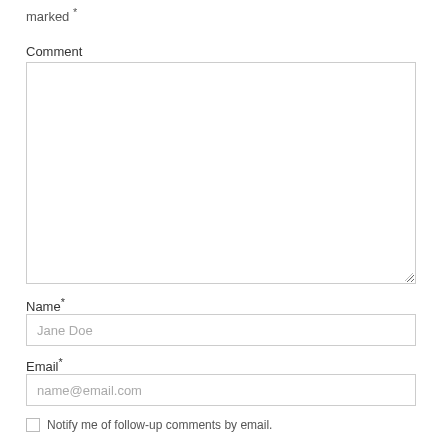marked *
Comment
[Figure (other): Large empty textarea for comment input with resize handle]
Name*
[Figure (other): Text input field with placeholder 'Jane Doe']
Email*
[Figure (other): Text input field with placeholder 'name@email.com']
Notify me of follow-up comments by email.